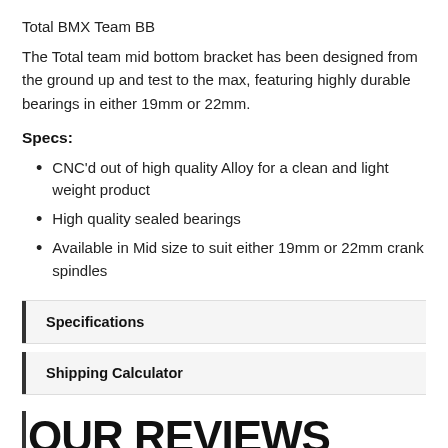Total BMX Team BB
The Total team mid bottom bracket has been designed from the ground up and test to the max, featuring highly durable bearings in either 19mm or 22mm.
Specs:
CNC'd out of high quality Alloy for a clean and light weight product
High quality sealed bearings
Available in Mid size to suit either 19mm or 22mm crank spindles
Specifications
Shipping Calculator
OUR REVIEWS